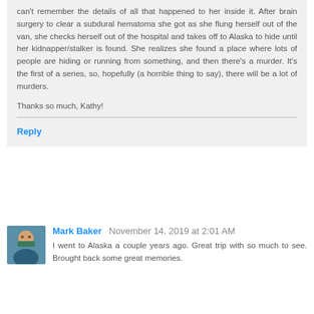can't remember the details of all that happened to her inside it. After brain surgery to clear a subdural hematoma she got as she flung herself out of the van, she checks herself out of the hospital and takes off to Alaska to hide until her kidnapper/stalker is found. She realizes she found a place where lots of people are hiding or running from something, and then there's a murder. It's the first of a series, so, hopefully (a horrible thing to say), there will be a lot of murders.

Thanks so much, Kathy!
Reply
Mark Baker  November 14, 2019 at 2:01 AM
I went to Alaska a couple years ago. Great trip with so much to see. Brought back some great memories.